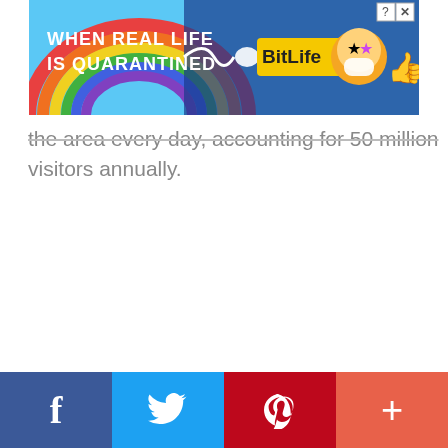[Figure (photo): BitLife advertisement banner with rainbow background and text 'WHEN REAL LIFE IS QUARANTINED' and BitLife logo with emoji characters]
the area every day, accounting for 50 million visitors annually.
[Figure (other): Social sharing bar with Facebook, Twitter, Pinterest, and More buttons at the bottom of the page]